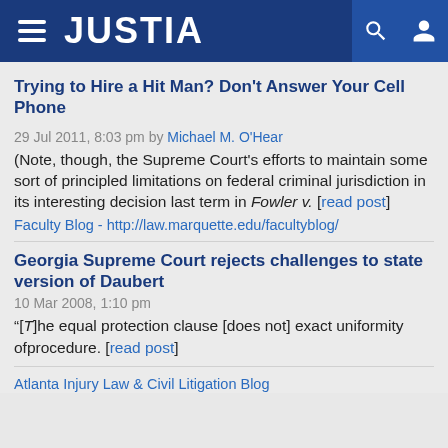JUSTIA
Trying to Hire a Hit Man? Don't Answer Your Cell Phone
29 Jul 2011, 8:03 pm by Michael M. O'Hear
(Note, though, the Supreme Court's efforts to maintain some sort of principled limitations on federal criminal jurisdiction in its interesting decision last term in Fowler v. [read post]
Faculty Blog - http://law.marquette.edu/facultyblog/
Georgia Supreme Court rejects challenges to state version of Daubert
10 Mar 2008, 1:10 pm
&ldquo;[T]he equal protection clause [does not] exact uniformity ofprocedure. [read post]
Atlanta Injury Law & Civil Litigation Blog